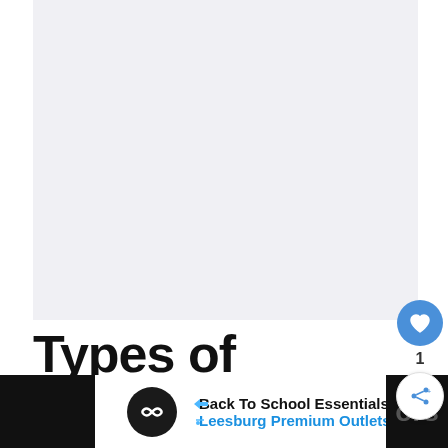[Figure (photo): Large light grey/white image area at top of article page — content of image not clearly visible (appears blank or very light)]
Types of Aerobic
[Figure (screenshot): Advertisement banner: Back To School Essentials — Leesburg Premium Outlets, with logo circle and navigation arrow icon. Dark strips on left and right sides of footer.]